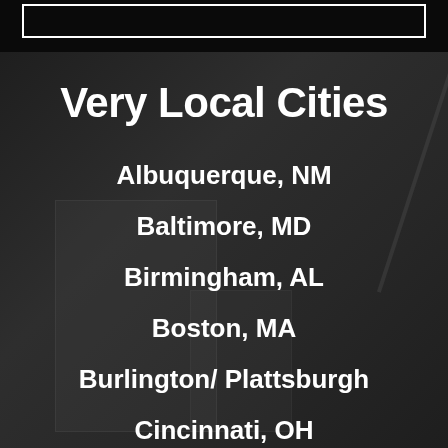Very Local Cities
Albuquerque, NM
Baltimore, MD
Birmingham, AL
Boston, MA
Burlington/ Plattsburgh
Cincinnati, OH